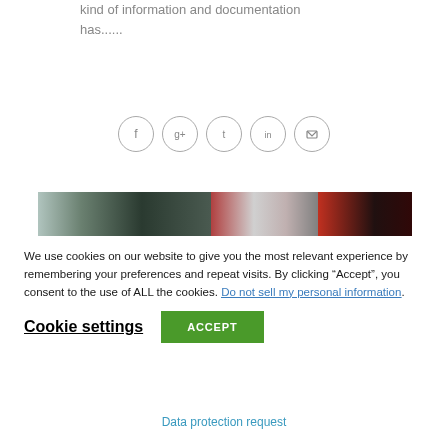kind of information and documentation has......
[Figure (infographic): Row of five social sharing icon circles: Facebook, Google+, Twitter, LinkedIn, Email]
[Figure (photo): A horizontal strip of three photographic images side by side: forest/trees in dark tones, abstract red and grey, and dark red/black abstract]
We use cookies on our website to give you the most relevant experience by remembering your preferences and repeat visits. By clicking “Accept”, you consent to the use of ALL the cookies. Do not sell my personal information.
Cookie settings  ACCEPT
Data protection request